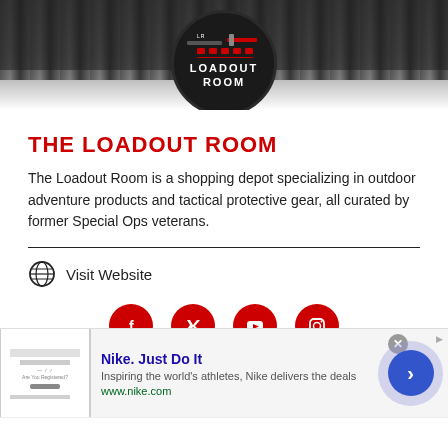[Figure (logo): Loadout Room circular logo with dark background, showing weapon silhouettes and LOADOUT ROOM text]
THE LOADOUT ROOM
The Loadout Room is a shopping depot specializing in outdoor adventure products and tactical protective gear, all curated by former Special Ops veterans.
Visit Website
[Figure (illustration): Social media icons: Facebook, Twitter, YouTube, Instagram — all red circles with white icons]
[Figure (infographic): Advertisement banner: Nike. Just Do It — Inspiring the world's athletes, Nike delivers the deals — www.nike.com]